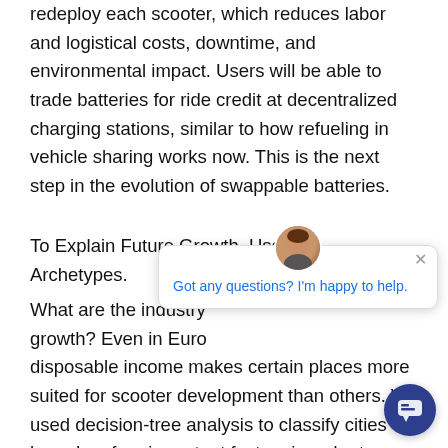redeploy each scooter, which reduces labor and logistical costs, downtime, and environmental impact. Users will be able to trade batteries for ride credit at decentralized charging stations, similar to how refueling in vehicle sharing works now. This is the next step in the evolution of swappable batteries.
To Explain Future Growth, Use City Archetypes.
What are the industry growth? Even in Euro disposable income makes certain places more suited for scooter development than others. W used decision-tree analysis to classify cities based on four important factors in order to arrive